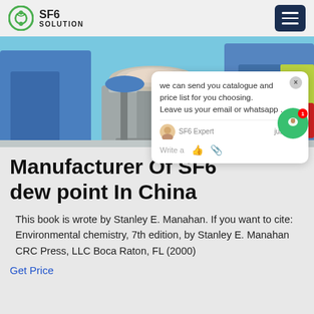SF6 SOLUTION
[Figure (photo): Workers in blue protective suits handling industrial equipment on a pedestal, close-up view]
Manufacturer Of SF6 dew point In China
This book is wrote by Stanley E. Manahan. If you want to cite: Environmental chemistry, 7th edition, by Stanley E. Manahan CRC Press, LLC Boca Raton, FL (2000)
Get Price